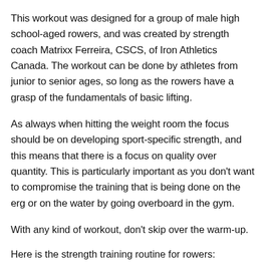This workout was designed for a group of male high school-aged rowers, and was created by strength coach Matrixx Ferreira, CSCS, of Iron Athletics Canada. The workout can be done by athletes from junior to senior ages, so long as the rowers have a grasp of the fundamentals of basic lifting.
As always when hitting the weight room the focus should be on developing sport-specific strength, and this means that there is a focus on quality over quantity. This is particularly important as you don't want to compromise the training that is being done on the erg or on the water by going overboard in the gym.
With any kind of workout, don't skip over the warm-up.
Here is the strength training routine for rowers:
1A: Dynamic warmup